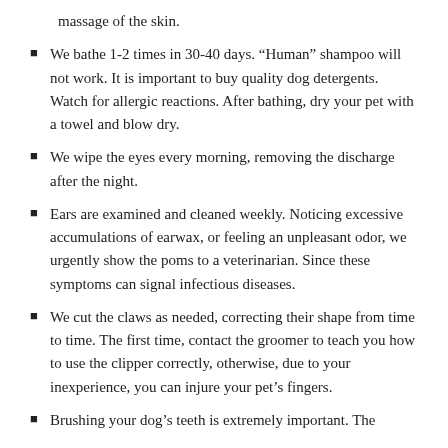massage of the skin.
We bathe 1-2 times in 30-40 days. “Human” shampoo will not work. It is important to buy quality dog detergents. Watch for allergic reactions. After bathing, dry your pet with a towel and blow dry.
We wipe the eyes every morning, removing the discharge after the night.
Ears are examined and cleaned weekly. Noticing excessive accumulations of earwax, or feeling an unpleasant odor, we urgently show the poms to a veterinarian. Since these symptoms can signal infectious diseases.
We cut the claws as needed, correcting their shape from time to time. The first time, contact the groomer to teach you how to use the clipper correctly, otherwise, due to your inexperience, you can injure your pet’s fingers.
Brushing your dog’s teeth is extremely important. The